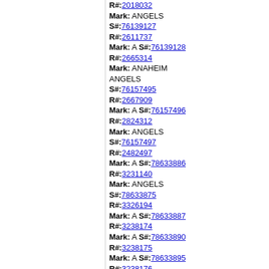R#:2018032 Mark: ANGELS S#:76139127 R#:2611737 Mark: A S#:76139128 R#:2665314 Mark: ANAHEIM ANGELS S#:76157495 R#:2667909 Mark: A S#:76157496 R#:2824312 Mark: ANGELS S#:76157497 R#:2482497 Mark: A S#:78633886 R#:3231140 Mark: ANGELS S#:78633875 R#:3326194 Mark: A S#:78633887 R#:3238174 Mark: A S#:78633890 R#:3238175 Mark: A S#:78633895 R#:3238176 Mark: ANGELS S#:78634126 R#:3326197 Mark: A S#:78634131